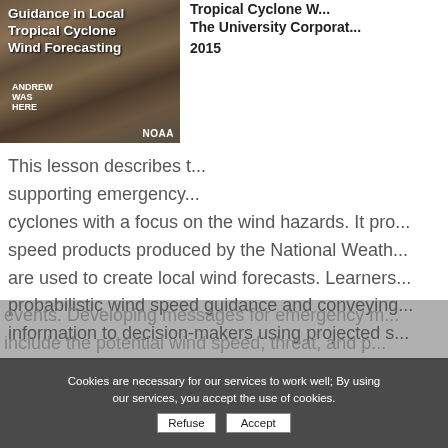[Figure (photo): Aerial photo of hurricane damage with NOAA label, showing destroyed buildings. Overlaid white bold text reads 'Guidance in Local Tropical Cyclone Wind Forecasting' and 'ANDREW WAS HERE' graffiti visible.]
Tropical Cyclone W... The University Corporat... 2015
This lesson describes t... supporting emergency... cyclones with a focus on the wind hazards. It pro... speed products produced by the National Weath... are used to create local wind forecasts. Learners... probabilistic wind speed guidance and conveying... information to decision-makers using projected s...
events. Developing messages for emergency m... include the potential wind speed, threat, and p...
Cookies are necessary for our services to work well; By using our services, you accept the use of cookies.